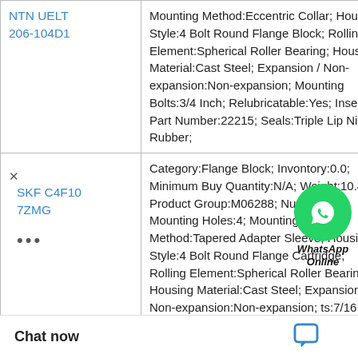| Product | Specifications |
| --- | --- |
| NTN UELT 206-104D1 | Mounting Method:Eccentric Collar; Housing Style:4 Bolt Round Flange Block; Rolling Element:Spherical Roller Bearing; Housing Material:Cast Steel; Expansion / Non-expansion:Non-expansion; Mounting Bolts:3/4 Inch; Relubricatable:Yes; Insert Part Number:22215; Seals:Triple Lip Nitrile Rubber; |
| SKF C4F107ZMG | Category:Flange Block; Inventory:0.0; Minimum Buy Quantity:N/A; Weight:10.442; Product Group:M06288; Number of Mounting Holes:4; Mounting Method:Tapered Adapter Sleeve; Housing Style:4 Bolt Round Flange Cartridge; Rolling Element:Spherical Roller Bearing; Housing Material:Cast Steel; Expansion / Non-expansion:Non-expansion; ts:7/16 Inch; Relub sert Part Number: |
Chat now